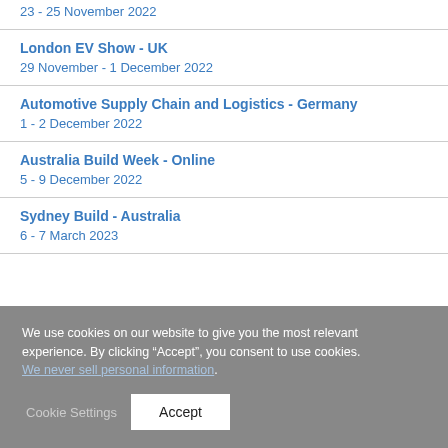23 - 25 November 2022
London EV Show - UK
29 November - 1 December 2022
Automotive Supply Chain and Logistics - Germany
1 - 2 December 2022
Australia Build Week - Online
5 - 9 December 2022
Sydney Build - Australia
6 - 7 March 2023
We use cookies on our website to give you the most relevant experience. By clicking “Accept”, you consent to use cookies. We never sell personal information.
Cookie Settings
Accept